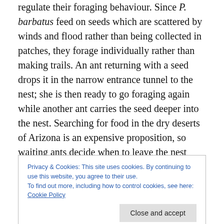regulate their foraging behaviour. Since P. barbatus feed on seeds which are scattered by winds and flood rather than being collected in patches, they forage individually rather than making trails. An ant returning with a seed drops it in the narrow entrance tunnel to the nest; she is then ready to go foraging again while another ant carries the seed deeper into the nest. Searching for food in the dry deserts of Arizona is an expensive proposition, so waiting ants decide when to leave the nest based on brief interactions with returning foragers, optimizing the colony's resource usage.
Privacy & Cookies: This site uses cookies. By continuing to use this website, you agree to their use.
To find out more, including how to control cookies, see here: Cookie Policy
the nest. By comparing the rate before, during and after